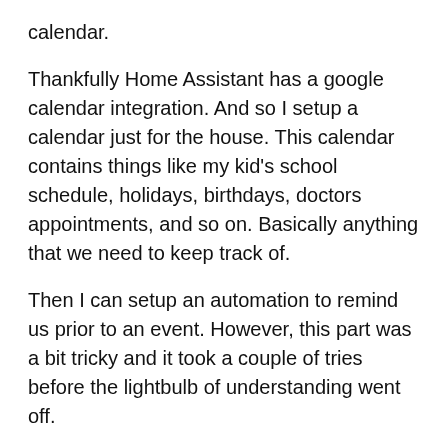calendar.
Thankfully Home Assistant has a google calendar integration. And so I setup a calendar just for the house. This calendar contains things like my kid’s school schedule, holidays, birthdays, doctors appointments, and so on. Basically anything that we need to keep track of.
Then I can setup an automation to remind us prior to an event. However, this part was a bit tricky and it took a couple of tries before the lightbulb of understanding went off.
But if you are using the Google Calendar integration, and have an event you want to be reminded of, you can simply add !!-00:45 to the